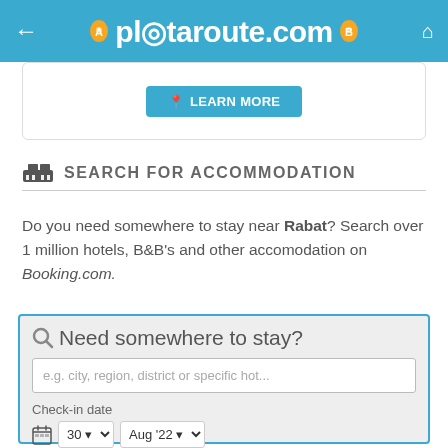plotaroute.com
[Figure (screenshot): Learn more button (blue) partially visible in a rounded card]
SEARCH FOR ACCOMMODATION
Do you need somewhere to stay near Rabat? Search over 1 million hotels, B&B's and other accomodation on Booking.com.
[Figure (screenshot): Search accommodation form: text input, check-in date (30, Aug '22), check-out date (31, Aug '22), checkbox for no specific dates]